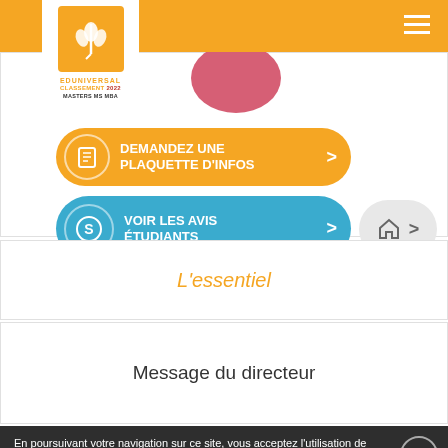[Figure (logo): Eduniversal Classement 2022 Masters MS MBA logo with wheat/grain icon on orange background]
[Figure (screenshot): Orange button 'DEMANDEZ UNE PLAQUETTE D'INFOS' with document icon and arrow]
[Figure (screenshot): Blue button 'VOIR LES AVIS ÉTUDIANTS' with S-circle icon and arrow; grey home button to the right]
L'essentiel
Message du directeur
En poursuivant votre navigation sur ce site, vous acceptez l'utilisation de cookies pour le fonctionnement des boutons de partage sur les réseaux sociaux et la mesure d'audience des pages du site. Pour mieux comprendre notre politique de protection de votre vie privée, rendez-vous ici.